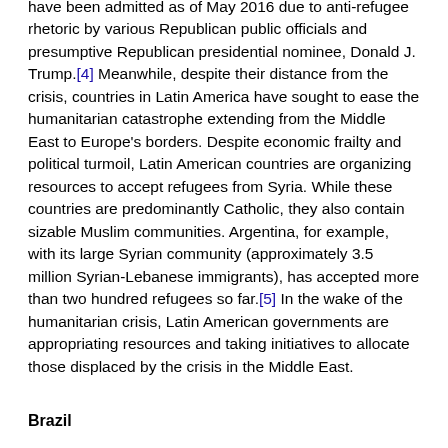have been admitted as of May 2016 due to anti-refugee rhetoric by various Republican public officials and presumptive Republican presidential nominee, Donald J. Trump.[4] Meanwhile, despite their distance from the crisis, countries in Latin America have sought to ease the humanitarian catastrophe extending from the Middle East to Europe's borders. Despite economic frailty and political turmoil, Latin American countries are organizing resources to accept refugees from Syria. While these countries are predominantly Catholic, they also contain sizable Muslim communities. Argentina, for example, with its large Syrian community (approximately 3.5 million Syrian-Lebanese immigrants), has accepted more than two hundred refugees so far.[5] In the wake of the humanitarian crisis, Latin American governments are appropriating resources and taking initiatives to allocate those displaced by the crisis in the Middle East.
Brazil